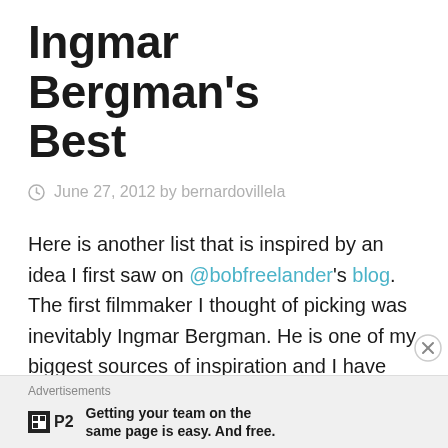Ingmar Bergman's Best
June 27, 2012 by bernardovillela
Here is another list that is inspired by an idea I first saw on @bobfreelander's blog. The first filmmaker I thought of picking was inevitably Ingmar Bergman. He is one of my biggest sources of inspiration and I have seen many of his films, as evidenced below.
Advertisements
Getting your team on the same page is easy. And free.